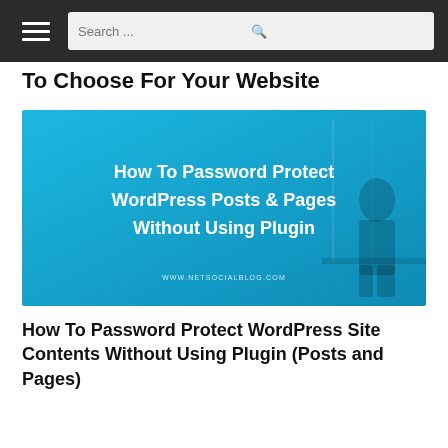Search ...
To Choose For Your Website
[Figure (illustration): Blue banner image with white bold text reading 'How To Password Protect WordPress Posts & Pages Without Using Plugin' and website URL www.netsocialblog.com at the bottom.]
How To Password Protect WordPress Site Contents Without Using Plugin (Posts and Pages)